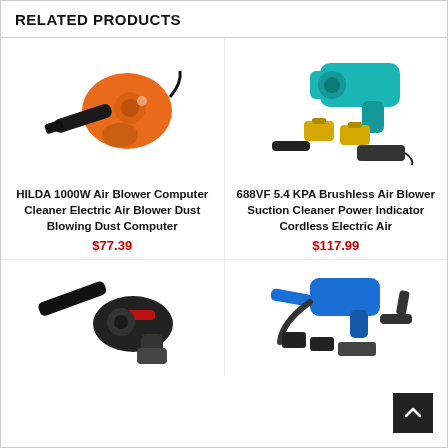RELATED PRODUCTS
[Figure (photo): Orange HILDA electric air blower product photo]
HILDA 1000W Air Blower Computer Cleaner Electric Air Blower Dust Blowing Dust Computer
$77.39
[Figure (photo): Teal/cyan 688VF brushless cordless air blower with batteries and charger accessories]
688VF 5.4 KPA Brushless Air Blower Suction Cleaner Power Indicator Cordless Electric Air
$117.99
[Figure (photo): Black/red cordless air blower tool]
[Figure (photo): Blue cordless air blower with accessories kit including battery, charger and attachments]